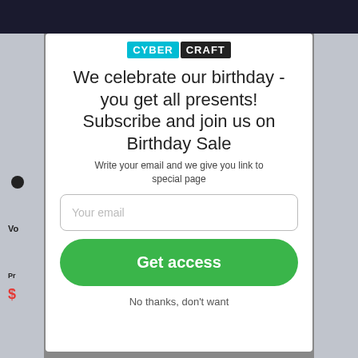[Figure (screenshot): CyberCraft website header with dark navy top bar and CYBER CRAFT logo badge]
We celebrate our birthday - you get all presents! Subscribe and join us on Birthday Sale
Write your email and we give you link to special page
Your email
Get access
No thanks, don't want